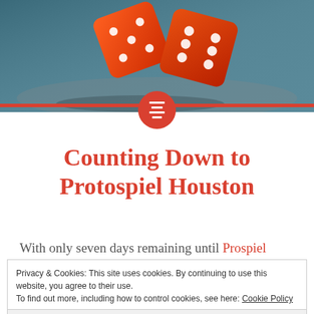[Figure (photo): Orange/red dice on a blurred grey surface, header image for a blog post]
Counting Down to Protospiel Houston
With only seven days remaining until Prospiel Houston, I am scrambling to make sure everything's set at the hotel and that our guest speakers are
Privacy & Cookies: This site uses cookies. By continuing to use this website, you agree to their use.
To find out more, including how to control cookies, see here: Cookie Policy
Close and accept